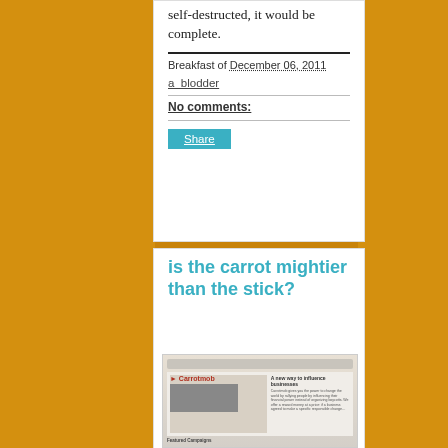self-destructed, it would be complete.
Breakfast of December 06, 2011
a_blodder
No comments:
Share
is the carrot mightier than the stick?
[Figure (screenshot): Screenshot of the Carrotmob website showing 'A new way to influence businesses' with a featured campaigns section and an illustrated character at a desk.]